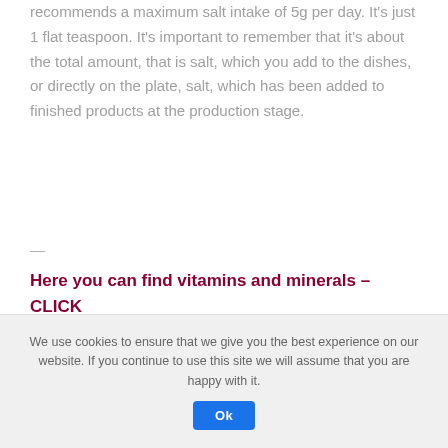recommends a maximum salt intake of 5g per day. It's just 1 flat teaspoon. It's important to remember that it's about the total amount, that is salt, which you add to the dishes, or directly on the plate, salt, which has been added to finished products at the production stage.
—
Here you can find vitamins and minerals – CLICK
—
The Institute of Food and Nutrition emphasizes that Poles consume twice as much salt as the WHO recommends. The
We use cookies to ensure that we give you the best experience on our website. If you continue to use this site we will assume that you are happy with it.